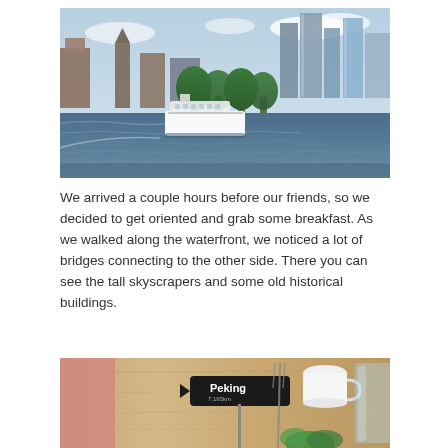[Figure (photo): Cityscape photo showing a river waterfront with a large passenger ferry boat on the water, tree-lined promenade, and tall modern skyscrapers mixed with old historical buildings in the background under a partly cloudy sky.]
We arrived a couple hours before our friends, so we decided to get oriented and grab some breakfast. As we walked along the waterfront, we noticed a lot of bridges connecting to the other side. There you can see the tall skyscrapers and some old historical buildings.
[Figure (photo): Close-up photo of a wooden table at a café/restaurant showing a directional sign reading 'Peking' with distance, along with glassware, a white cup, and greenery.]